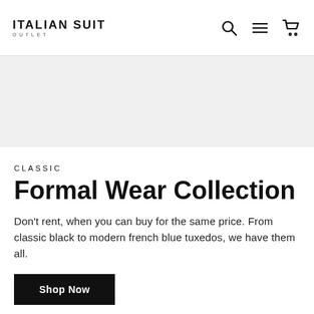ITALIAN SUIT OUTLET
[Figure (other): Gray hero banner area]
CLASSIC
Formal Wear Collection
Don't rent, when you can buy for the same price. From classic black to modern french blue tuxedos, we have them all.
Shop Now